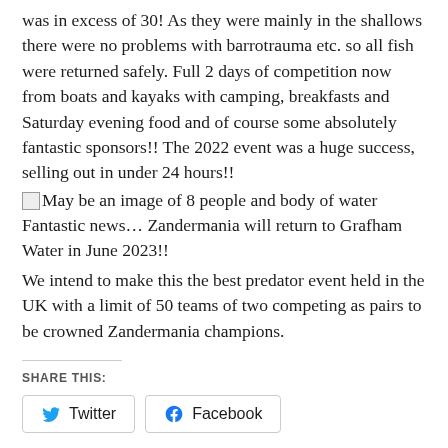was in excess of 30! As they were mainly in the shallows there were no problems with barrotrauma etc. so all fish were returned safely. Full 2 days of competition now from boats and kayaks with camping, breakfasts and Saturday evening food and of course some absolutely fantastic sponsors!! The 2022 event was a huge success, selling out in under 24 hours!!
[Figure (photo): May be an image of 8 people and body of water]
Fantastic news… Zandermania will return to Grafham Water in June 2023!!
We intend to make this the best predator event held in the UK with a limit of 50 teams of two competing as pairs to be crowned Zandermania champions.
SHARE THIS:
Twitter  Facebook